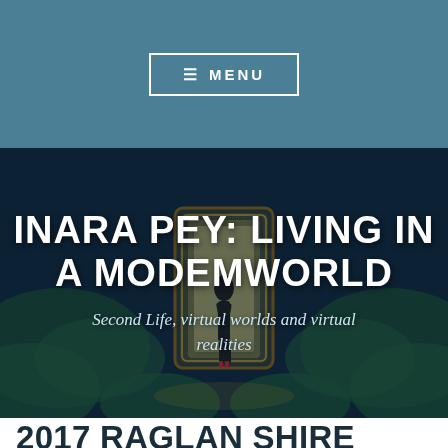≡ MENU
[Figure (illustration): Hero image of a stylized female figure standing in front of a glowing doorway surrounded by dark tropical foliage, with overlaid blog title text]
INARA PEY: LIVING IN A MODEMWORLD
Second Life, virtual worlds and virtual realities
2017 RAGLAN SHIRE ARTWALK: CALL TO ARTISTS